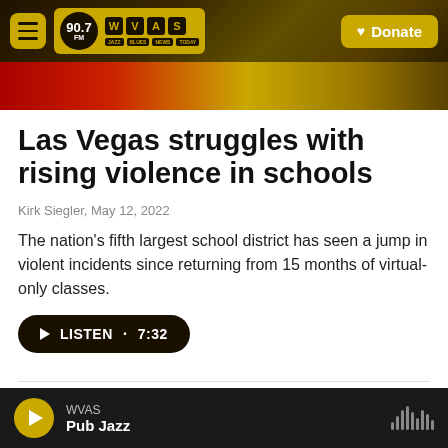WVAS 90.7 FM — Jazz Blues News Today | Donate
[Figure (photo): Hero image strip showing partial photo of brass instrument against dark background, partially cropped]
Las Vegas struggles with rising violence in schools
Kirk Siegler, May 12, 2022
The nation's fifth largest school district has seen a jump in violent incidents since returning from 15 months of virtual-only classes.
[Figure (other): Listen button: play icon followed by LISTEN · 7:32 in dark pill-shaped button]
[Figure (photo): Partial photo of bare winter trees against grey sky, bottom portion of page]
WVAS — Pub Jazz — audio player bar with play button and waveform icon